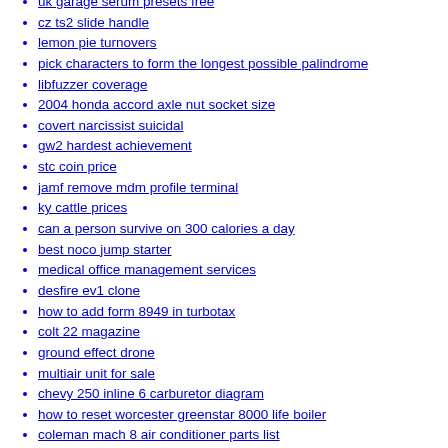uk garage serum presets free
cz ts2 slide handle
lemon pie turnovers
pick characters to form the longest possible palindrome
libfuzzer coverage
2004 honda accord axle nut socket size
covert narcissist suicidal
gw2 hardest achievement
stc coin price
jamf remove mdm profile terminal
ky cattle prices
can a person survive on 300 calories a day
best noco jump starter
medical office management services
desfire ev1 clone
how to add form 8949 in turbotax
colt 22 magazine
ground effect drone
multiair unit for sale
chevy 250 inline 6 carburetor diagram
how to reset worcester greenstar 8000 life boiler
coleman mach 8 air conditioner parts list
assess definition oxford dictionary
aztec calendar concrete mold
canon parts catalog